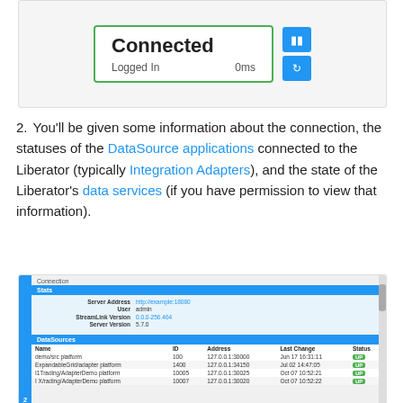[Figure (screenshot): Screenshot showing a 'Connected' status panel with green border, 'Logged In' label and '0ms' latency, and two blue buttons (pause and refresh).]
2. You’ll be given some information about the connection, the statuses of the DataSource applications connected to the Liberator (typically Integration Adapters), and the state of the Liberator’s data services (if you have permission to view that information).
[Figure (screenshot): Screenshot of the Connection panel showing Stats section with Server Address (http://example:18080), User (admin), StreamLink Version (0.0.0-256.464), Server Version (5.7.0), and DataSources table with columns Name, ID, Address, Last Change, Status showing entries: demo/src platform (100, 127.0.0.1:30000, Jun 17 16:31:11, UP), ExpandableGrid/adapter platform (1400, 127.0.0.1:34150, Jul 02 14:47:05, UP), I1Trading/AdapterDemo platform (10005, 127.0.0.1:30025, Oct 07 10:52:21, UP), I X/rading/AdapterDemo platform (10007, 127.0.0.1:30020, Oct 07 10:52:22, UP).]